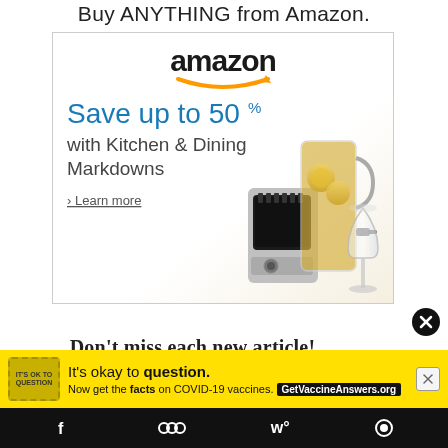Buy ANYTHING from Amazon.
[Figure (screenshot): Amazon advertisement banner: Save up to 50% with Kitchen & Dining Markdowns. Shows Amazon logo with orange arrow, kitchen appliance (toaster/blender), drink dispenser, and wine glass.]
Don't miss each new article!
Email Address...
[Figure (infographic): COVID-19 vaccine information ad: It's okay to question. Now get the facts on COVID-19 vaccines. GetVaccineAnswers.org]